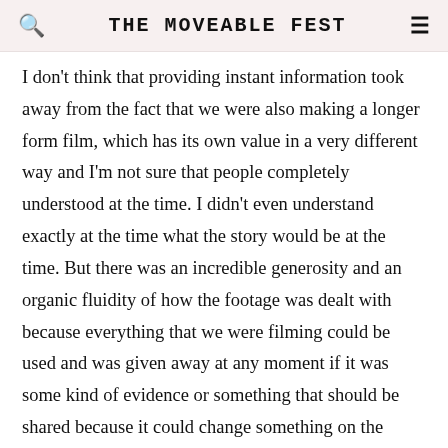THE MOVEABLE FEST
I don't think that providing instant information took away from the fact that we were also making a longer form film, which has its own value in a very different way and I'm not sure that people completely understood at the time. I didn't even understand exactly at the time what the story would be at the time. But there was an incredible generosity and an organic fluidity of how the footage was dealt with because everything that we were filming could be used and was given away at any moment if it was some kind of evidence or something that should be shared because it could change something on the ground. There was no keeping footage aside because we didn't want it to come out for another three years. At the